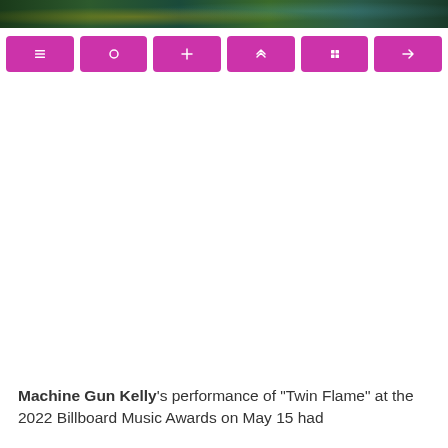[Figure (photo): Colorful concert/performance photo strip at top of page with green and blue stage lighting]
[Figure (infographic): Row of six magenta/pink navigation buttons with small white icons]
Machine Gun Kelly's performance of “Twin Flame” at the 2022 Billboard Music Awards on May 15 had